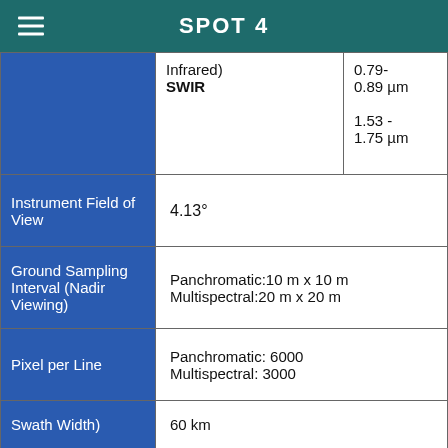SPOT 4
|  |  |  |
| --- | --- | --- |
|  | Infrared)
SWIR | 0.79-
0.89 µm
1.53 -
1.75 µm |
| Instrument Field of View | 4.13° |  |
| Ground Sampling Interval (Nadir Viewing) | Panchromatic:10 m x 10 m
Multispectral:20 m x 20 m |  |
| Pixel per Line | Panchromatic: 6000
Multispectral: 3000 |  |
| Swath Width) | 60 km |  |